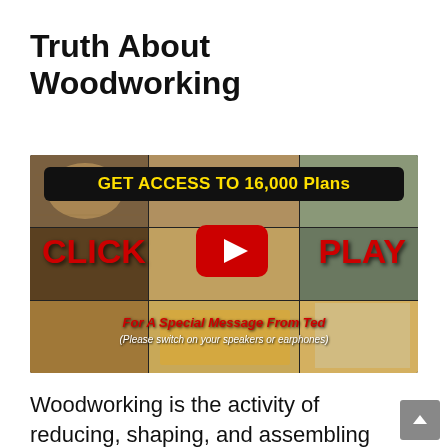Truth About Woodworking
[Figure (screenshot): Video thumbnail with black banner reading 'GET ACCESS TO 16,000 Plans', red YouTube play button in center, bold red text 'CLICK' on left and 'PLAY' on right, italic red text 'For A Special Message From Ted', and white italic text '(Please switch on your speakers or earphones)'. Background shows a collage of woodworking projects.]
Woodworking is the activity of reducing, shaping, and assembling timber